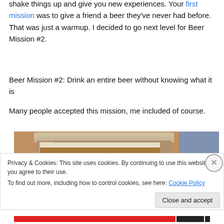shake things up and give you new experiences. Your first mission was to give a friend a beer they've never had before. That was just a warmup. I decided to go next level for Beer Mission #2.
Beer Mission #2: Drink an entire beer without knowing what it is
Many people accepted this mission, me included of course.
[Figure (photo): Photo of a beer glass on a wooden surface, partially visible, brown/amber tones]
Privacy & Cookies: This site uses cookies. By continuing to use this website, you agree to their use.
To find out more, including how to control cookies, see here: Cookie Policy